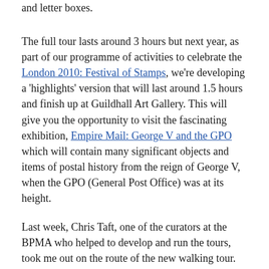and letter boxes.
The full tour lasts around 3 hours but next year, as part of our programme of activities to celebrate the London 2010: Festival of Stamps, we're developing a 'highlights' version that will last around 1.5 hours and finish up at Guildhall Art Gallery. This will give you the opportunity to visit the fascinating exhibition, Empire Mail: George V and the GPO which will contain many significant objects and items of postal history from the reign of George V, when the GPO (General Post Office) was at its height.
Last week, Chris Taft, one of the curators at the BPMA who helped to develop and run the tours, took me out on the route of the new walking tour.